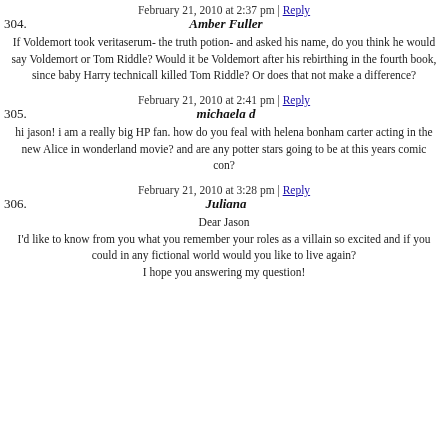304. Amber Fuller — February 21, 2010 at 2:37 pm | Reply
If Voldemort took veritaserum- the truth potion- and asked his name, do you think he would say Voldemort or Tom Riddle? Would it be Voldemort after his rebirthing in the fourth book, since baby Harry technicall killed Tom Riddle? Or does that not make a difference?
305. michaela d — February 21, 2010 at 2:41 pm | Reply
hi jason! i am a really big HP fan. how do you feal with helena bonham carter acting in the new Alice in wonderland movie? and are any potter stars going to be at this years comic con?
306. Juliana — February 21, 2010 at 3:28 pm | Reply
Dear Jason
I'd like to know from you what you remember your roles as a villain so excited and if you could in any fictional world would you like to live again?
I hope you answering my question!